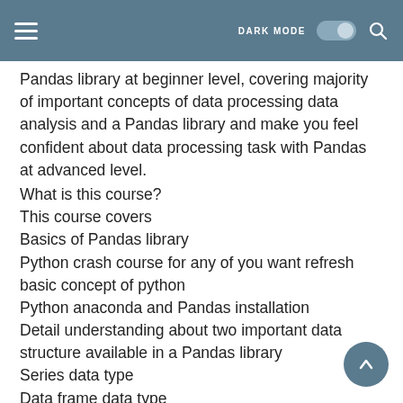DARK MODE [toggle] [search]
Pandas library  at beginner level,  covering majority of important concepts of data processing data analysis and a Pandas library and make you feel confident about data processing task with Pandas at advanced level.
What is this course?
This course covers
Basics of Pandas library
Python crash course for any of you want refresh basic concept of python
Python anaconda and Pandas installation
Detail understanding about two important data structure available in a Pandas library
Series data type
Data frame data type
How you can group the data for better analysis
How to use Pandas for text processing
How to visualize the data with Pandas inbuilt